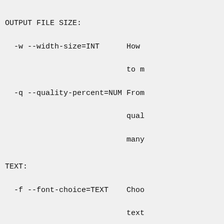OUTPUT FILE SIZE:
-w --width-size=INT      How
to m
-q --quality-percent=NUM From
qual
many
TEXT:
-f --font-choice=TEXT    Choo
text
-t --top-text=TEXT       The
-b --bottom-text=TEXT    The
GIF.
CROP:
-L --left-crop=NUM       The
-R --right-crop=NUM      The
-T --top-crop=NUM        The
-B --bottom-crop=NUM     The
INFO:
...